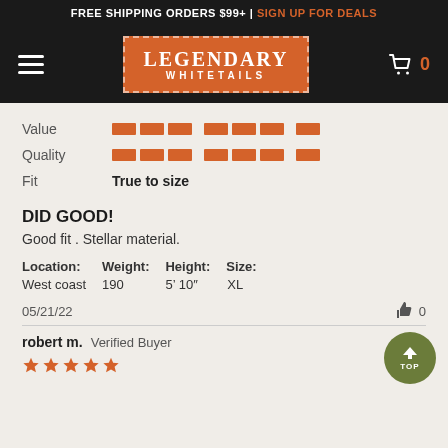FREE SHIPPING ORDERS $99+ | SIGN UP FOR DEALS
[Figure (logo): Legendary Whitetails logo — orange rectangle with dashed white border, white text reading LEGENDARY WHITETAILS]
Value [rating bars]
Quality [rating bars]
Fit  True to size
DID GOOD!
Good fit . Stellar material.
| Location: | Weight: | Height: | Size: |
| --- | --- | --- | --- |
| West coast | 190 | 5’ 10″ | XL |
05/21/22
robert m. Verified Buyer